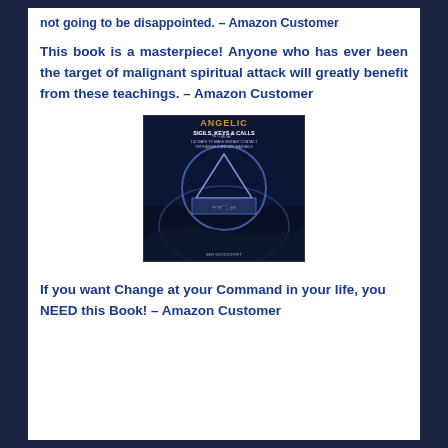not going to be disappointed. – Amazon Customer
This book is a masterpiece! Anyone who has ever been the target of malignant spiritual attack will greatly benefit from these teachings. – Amazon Customer
[Figure (photo): Book cover of 'Angelic Sigils, Keys & Calls: 142 Ways to Make Instant Contact with Angels and Archangels' by Ben Woodcroft. Dark blue background with mystical symbols, triangle geometry, and a circular seal with ancient script.]
If you want Change at your Command in your life, you NEED this Book! – Amazon Customer